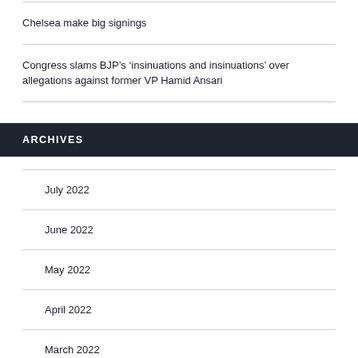Chelsea make big signings
Congress slams BJP’s ‘insinuations and insinuations’ over allegations against former VP Hamid Ansari
ARCHIVES
July 2022
June 2022
May 2022
April 2022
March 2022
February 2022
January 2022